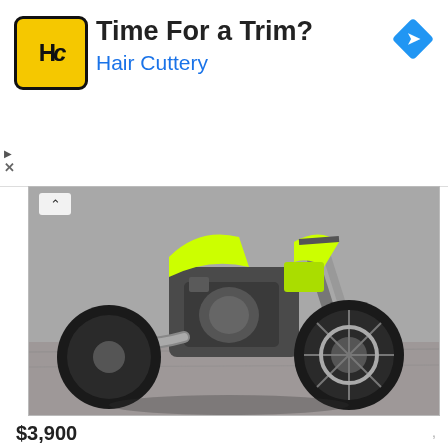[Figure (infographic): Hair Cuttery advertisement banner with yellow/black HC logo, title 'Time For a Trim?', subtitle 'Hair Cuttery', and blue navigation arrow icon on the right]
[Figure (photo): Close-up photograph of a yellow and black motorcycle (Honda CB300R style) parked on an asphalt/gravel surface, showing engine, exhaust, front wheel and fork details]
$3,900
300cc, fuel inj, ABS, stock, 6,600 miles, $3,900. 50 used motorcycles in stock, Millers US 31 Sales, call Scott or Gary 2313485838. Complete inventory online at us31sales.com. Click more ads by this user to see more listings on CL. Trade-ins welcome - motorcycle, snowmobile, ATV, auto - ...